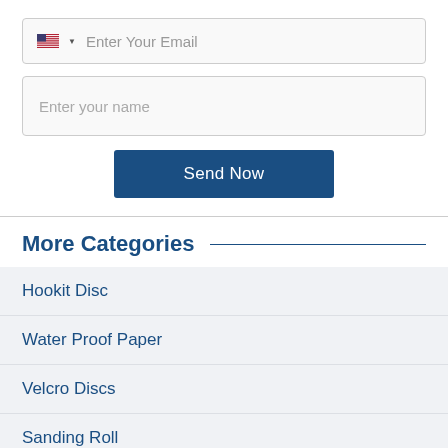[Figure (screenshot): Email input field with US flag icon and dropdown arrow, placeholder text 'Enter Your Email']
[Figure (screenshot): Name input field with placeholder text 'Enter your name']
[Figure (screenshot): Blue 'Send Now' button]
More Categories
Hookit Disc
Water Proof Paper
Velcro Discs
Sanding Roll
Abrasive Paper Rolls for Construction